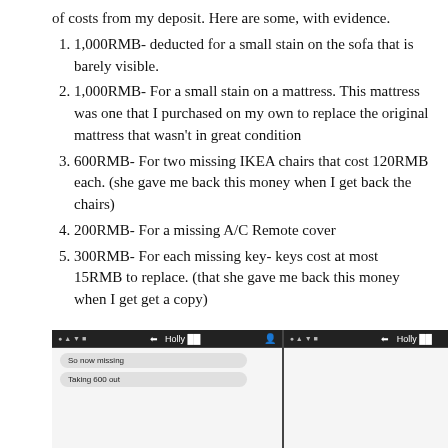of costs from my deposit. Here are some, with evidence.
1,000RMB- deducted for a small stain on the sofa that is barely visible.
1,000RMB- For a small stain on a mattress. This mattress was one that I purchased on my own to replace the original mattress that wasn't in great condition
600RMB- For two missing IKEA chairs that cost 120RMB each. (she gave me back this money when I get back the chairs)
200RMB- For a missing A/C Remote cover
300RMB- For each missing key- keys cost at most 15RMB to replace. (that she gave me back this money when I get get a copy)
[Figure (screenshot): Screenshot of a mobile chat conversation with contact named 'Holly', showing messages about missing items and charges. Two chat panels visible side by side with dark header bars, and a partial photo on the right side.]